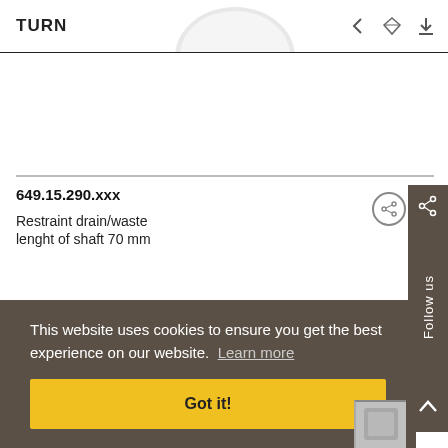TURN
[Figure (photo): Partial view of a round white product/knob visible at top center, cropped by the page header]
649.15.290.xxx
Restraint drain/waste
lenght of shaft 70 mm
[Figure (screenshot): Cookie consent banner overlay with dark brown/khaki background reading: 'This website uses cookies to ensure you get the best experience on our website. Learn more' and a yellow 'Got it!' button]
[Figure (photo): Small gray product image visible at bottom right corner]